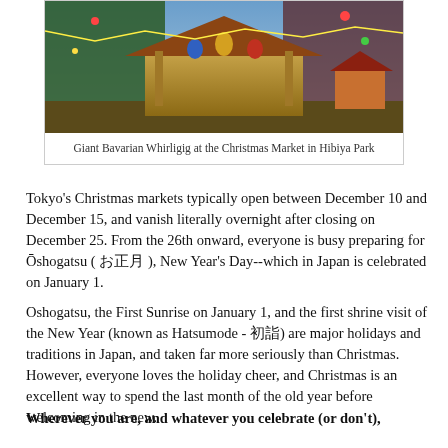[Figure (photo): Giant Bavarian Whirligig decorated structure at the Christmas Market in Hibiya Park, with Christmas decorations and figures]
Giant Bavarian Whirligig at the Christmas Market in Hibiya Park
Tokyo's Christmas markets typically open between December 10 and December 15, and vanish literally overnight after closing on December 25. From the 26th onward, everyone is busy preparing for Ōshogatsu ( お正月 ), New Year's Day--which in Japan is celebrated on January 1.
Oshogatsu, the First Sunrise on January 1, and the first shrine visit of the New Year (known as Hatsumode - 初詣) are major holidays and traditions in Japan, and taken far more seriously than Christmas. However, everyone loves the holiday cheer, and Christmas is an excellent way to spend the last month of the old year before welcoming in the new.
Wherever you are, and whatever you celebrate (or don't),